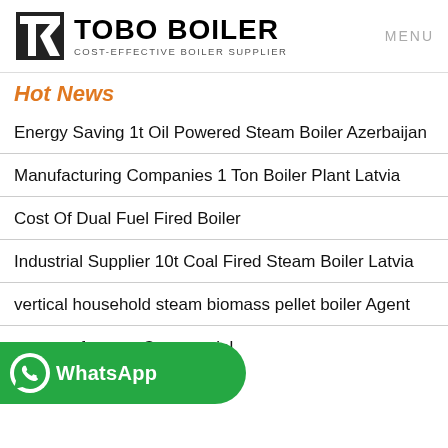TOBO BOILER — COST-EFFECTIVE BOILER SUPPLIER | MENU
Hot News
Energy Saving 1t Oil Powered Steam Boiler Azerbaijan
Manufacturing Companies 1 Ton Boiler Plant Latvia
Cost Of Dual Fuel Fired Boiler
Industrial Supplier 10t Coal Fired Steam Boiler Latvia
vertical household steam biomass pellet boiler Agent
op manufacturer Commercial Georgia
[Figure (logo): WhatsApp button with green background and WhatsApp icon]